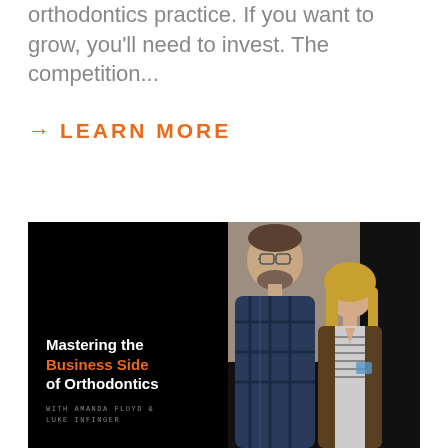orthodontics practice. If you want to grow, you'll need to invest. The competition...
→ LEARN MORE
[Figure (photo): Podcast cover image for 'Mastering the Business Side of Orthodontics with Amanda Floyd & Luke Infinger'. Shows a man and woman posing together against a dark background with tan/taupe color blocks. Man wearing blue plaid shirt, woman wearing striped shirt and brown cardigan.]